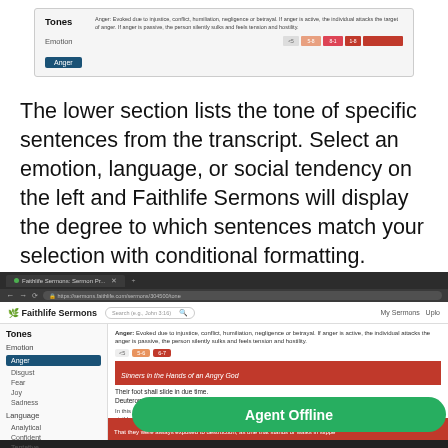[Figure (screenshot): Screenshot of Faithlife Sermons Tones panel showing Emotion and Anger selection with tone bars]
The lower section lists the tone of specific sentences from the transcript. Select an emotion, language, or social tendency on the left and Faithlife Sermons will display the degree to which sentences match your selection with conditional formatting.
[Figure (screenshot): Screenshot of Faithlife Sermons website showing Tones panel with Anger selected under Emotion, sermon text displayed with conditional formatting, and an Agent Offline overlay button]